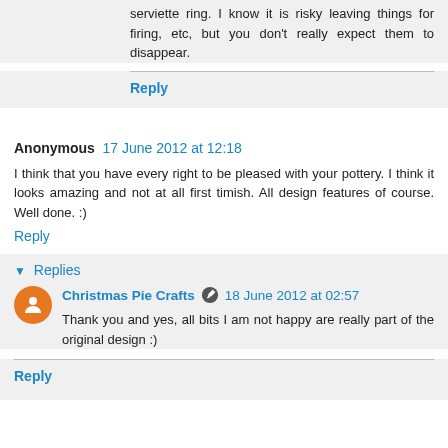serviette ring. I know it is risky leaving things for firing, etc, but you don't really expect them to disappear.
Reply
Anonymous 17 June 2012 at 12:18
I think that you have every right to be pleased with your pottery. I think it looks amazing and not at all first timish. All design features of course. Well done. :)
Reply
Replies
Christmas Pie Crafts 18 June 2012 at 02:57
Thank you and yes, all bits I am not happy are really part of the original design :)
Reply